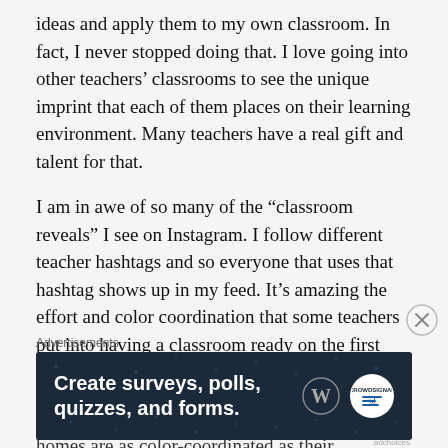ideas and apply them to my own classroom. In fact, I never stopped doing that. I love going into other teachers' classrooms to see the unique imprint that each of them places on their learning environment. Many teachers have a real gift and talent for that.
I am in awe of so many of the “classroom reveals” I see on Instagram. I follow different teacher hashtags and so everyone that uses that hashtag shows up in my feed. It’s amazing the effort and color coordination that some teachers put into having a classroom ready on the first day — I can’t help but wonder if some of these teachers’ homes are as color-coordinated as their
Advertisements
[Figure (other): Dark blue advertisement banner reading 'Create surveys, polls, quizzes, and forms.' with WordPress and Survey logos]